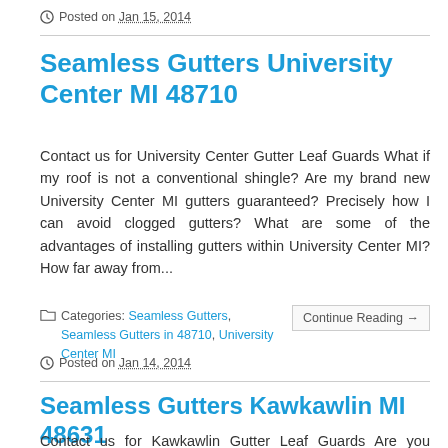Posted on Jan 15, 2014
Seamless Gutters University Center MI 48710
Contact us for University Center Gutter Leaf Guards What if my roof is not a conventional shingle? Are my brand new University Center MI gutters guaranteed? Precisely how I can avoid clogged gutters? What are some of the advantages of installing gutters within University Center MI? How far away from...
Categories: Seamless Gutters, Seamless Gutters in 48710, University Center MI
Posted on Jan 14, 2014
Seamless Gutters Kawkawlin MI 48631
Contact us for Kawkawlin Gutter Leaf Guards Are you seeking to make upgrades to your home's outside? Are there varied types of